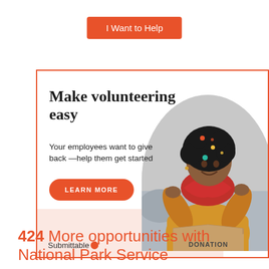[Figure (other): Orange rounded-rectangle button labeled 'I Want to Help']
[Figure (infographic): Advertisement box with orange border. Headline: 'Make volunteering easy'. Subtext: 'Your employees want to give back —help them get started'. Orange 'LEARN MORE' button. Circular photo of woman unpacking red clothing into a DONATION box. Submittable logo at bottom left. Decorative colored dots.]
424 More opportunities with National Park Service